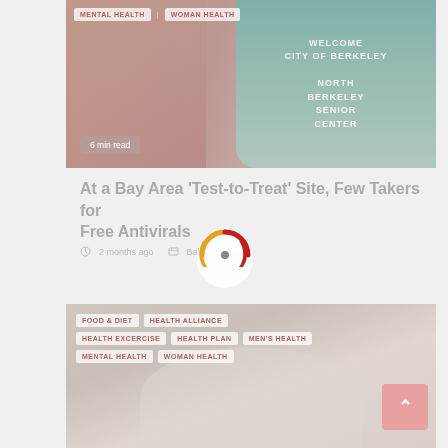[Figure (photo): Exterior photo of North Berkeley Senior Center building with welcome sign]
MENTAL HEALTH | WOMAN HEALTH
6 min read
At a Bay Area 'Test-to-Treat' Site, Few Takers for Free Antivirals
2 months ago  Balmond Hyper
[Figure (photo): Health-related image with food, hands or medical items]
FOOD & DIET  HEALTH ALLIANCE  HEALTH EXCERCISE  HEALTH PLAN  MEN'S HEALTH  MENTAL HEALTH  WOMAN HEALTH